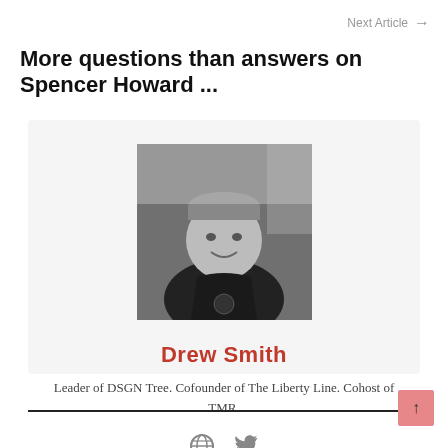Next Article →
More questions than answers on Spencer Howard ...
[Figure (photo): Black and white photo of Drew Smith, a man in a hoodie smiling at the camera]
Drew Smith
Leader of DSGN Tree. Cofounder of The Liberty Line. Cohost of TMR.
[Figure (other): Globe icon and Twitter bird icon social media links]